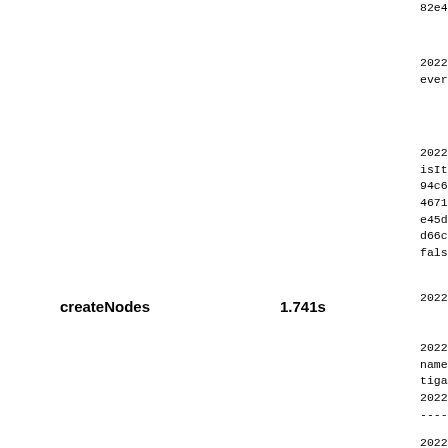82e4-467164e778cb:
2022-02-21 21:37:1
everything.
2022-02-21 21:37:1
isItemNotified: re
94c6-4425-82e4-
467164e778cb:localb
e45d-42b6-8352-c7f
d66ca271-e45d-42b6
false
createNodes
1.741s
2022-02-21 21:37:0
2022-02-21 21:37:0
name=class
tigase.tests.pubsu
2022-02-21 21:37:0
----------------
2022-02-21 21:37:1
executing action c
type application/j
{